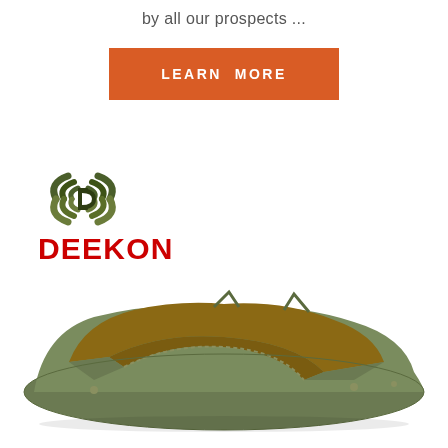by all our prospects ...
[Figure (other): Orange button labeled LEARN MORE]
[Figure (logo): Deekon logo: camouflage circular emblem with letter D, and red DEEKON text below]
[Figure (photo): Military olive green bivy/sleeping bag cover open showing brown interior lining, photographed on white background]